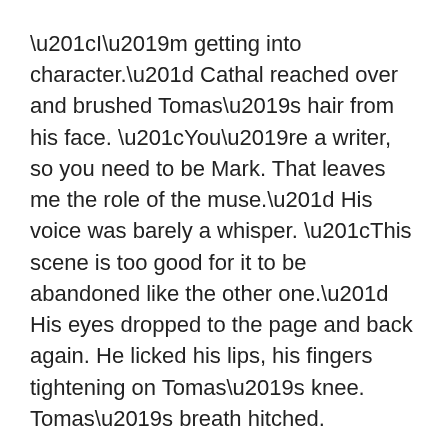“I’m getting into character.” Cathal reached over and brushed Tomas’s hair from his face. “You’re a writer, so you need to be Mark. That leaves me the role of the muse.” His voice was barely a whisper. “This scene is too good for it to be abandoned like the other one.” His eyes dropped to the page and back again. He licked his lips, his fingers tightening on Tomas’s knee. Tomas’s breath hitched.
“Yes, it is.”He swallowed again, reaching out his own hand to caress Cathal’s cheek, echoing Mark’s actions in his book. “I don’t want you to leave,” he whispered, his words following the script, his heart speeding up.
Cathal closed his eyes as he followed Tomas’s cue, slipping into a role that could have been written for him. “I think that’s i’d be more…”